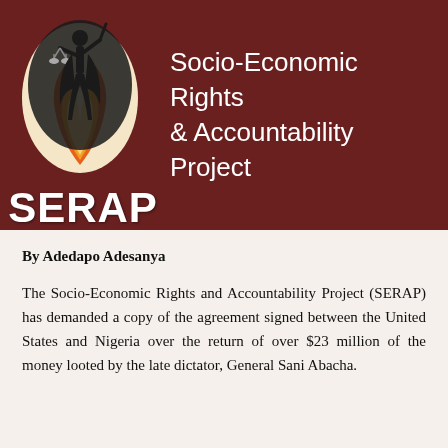[Figure (logo): SERAP (Socio-Economic Rights & Accountability Project) logo banner with dark red/maroon background, showing justice figure holding scales and sword in an oval emblem with flame design, and the text 'SERAP' in large white bold letters below the emblem, alongside the full organization name in white.]
By Adedapo Adesanya
The Socio-Economic Rights and Accountability Project (SERAP) has demanded a copy of the agreement signed between the United States and Nigeria over the return of over $23 million of the money looted by the late dictator, General Sani Abacha.